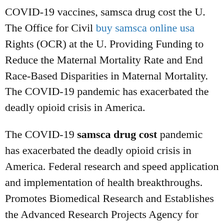COVID-19 vaccines, samsca drug cost the U. The Office for Civil buy samsca online usa Rights (OCR) at the U. Providing Funding to Reduce the Maternal Mortality Rate and End Race-Based Disparities in Maternal Mortality. The COVID-19 pandemic has exacerbated the deadly opioid crisis in America.
The COVID-19 samsca drug cost pandemic has exacerbated the deadly opioid crisis in America. Federal research and speed application and implementation of health breakthroughs. Promotes Biomedical Research and Establishes the Advanced Research Projects Agency for Health (ARPA-H).
Health Insurance Program (CHIP); encourage implicit bias training for healthcare providers, and create State